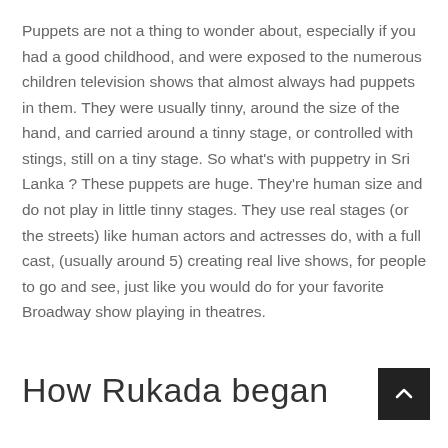Puppets are not a thing to wonder about, especially if you had a good childhood, and were exposed to the numerous children television shows that almost always had puppets in them. They were usually tinny, around the size of the hand, and carried around a tinny stage, or controlled with stings, still on a tiny stage. So what's with puppetry in Sri Lanka ? These puppets are huge. They're human size and do not play in little tinny stages. They use real stages (or the streets) like human actors and actresses do, with a full cast, (usually around 5) creating real live shows, for people to go and see, just like you would do for your favorite Broadway show playing in theatres.
How Rukada began